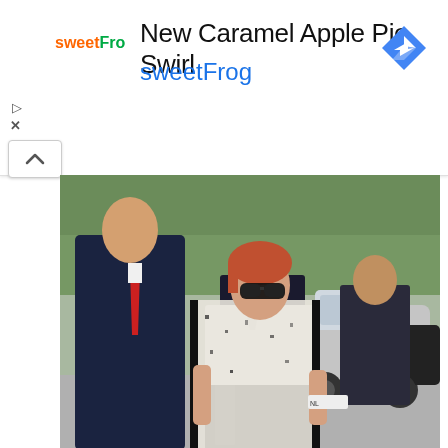[Figure (screenshot): Advertisement banner for sweetFrog showing 'New Caramel Apple Pie Swirl sweetFrog' with sweetFrog logo, navigation arrow icon, and a Google Maps-style ad unit]
[Figure (photo): Street fashion photo of a woman with red hair wearing black sunglasses, a white button-up shirt, a black and white speckled blazer, and a black patent leather skirt. Several men in suits are visible behind her. Cars and trees are in the background, suggesting an outdoor event in Paris.]